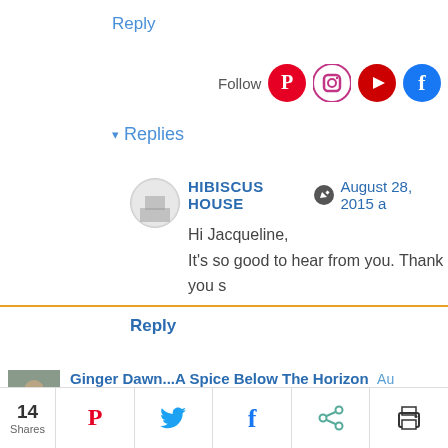Reply
Follow
▾ Replies
HIBISCUS HOUSE ✎ August 28, 2015 a
Hi Jacqueline,
It's so good to hear from you. Thank you s
Reply
Ginger Dawn...A Spice Below The Horizon Au
WoW! This was an amazing post! Thank you for
Reply
▾ Replies
14 Shares